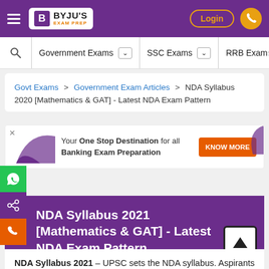BYJU'S EXAM PREP — Login — Navigation header with hamburger menu, logo, login button, phone icon
Government Exams | SSC Exams | RRB Exams — search navigation bar
Govt Exams > Government Exam Articles > NDA Syllabus 2020 [Mathematics & GAT] - Latest NDA Exam Pattern
[Figure (infographic): Ad banner: Your One Stop Destination for all Banking Exam Preparation. KNOW MORE button in orange.]
NDA Syllabus 2021 [Mathematics & GAT] - Latest NDA Exam Pattern
NDA Syllabus 2021 – UPSC sets the NDA syllabus. Aspirants must know the latest NDA exam pattern and syllabus if they wish to qualify the NDA exams to get into the Indian Defense